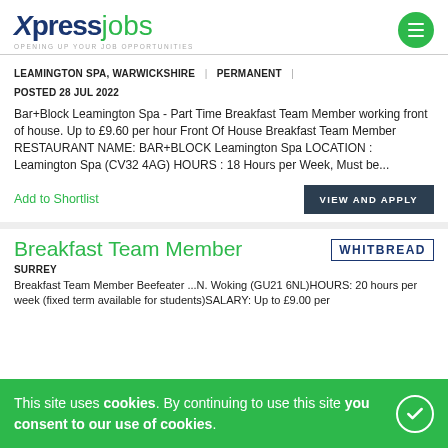Xpress jobs — OPENING UP YOUR JOB OPPORTUNITIES
LEAMINGTON SPA, WARWICKSHIRE | PERMANENT | POSTED 28 JUL 2022
Bar+Block Leamington Spa - Part Time Breakfast Team Member working front of house. Up to £9.60 per hour Front Of House Breakfast Team Member RESTAURANT NAME: BAR+BLOCK Leamington Spa LOCATION : Leamington Spa (CV32 4AG) HOURS : 18 Hours per Week, Must be...
Add to Shortlist
VIEW AND APPLY
Breakfast Team Member
[Figure (logo): Whitbread logo in dark navy bold text]
SURREY
Breakfast Team Member Beefeater ... N. Woking (GU21 6NL)HOURS: 20 hours per week (fixed term available for students)SALARY: Up to £9.00 per
This site uses cookies. By continuing to use this site you consent to our use of cookies.